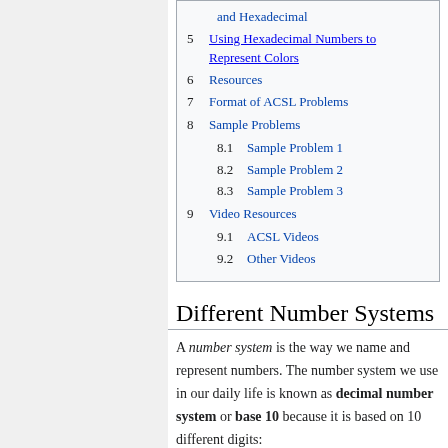and Hexadecimal
5 Using Hexadecimal Numbers to Represent Colors
6 Resources
7 Format of ACSL Problems
8 Sample Problems
8.1 Sample Problem 1
8.2 Sample Problem 2
8.3 Sample Problem 3
9 Video Resources
9.1 ACSL Videos
9.2 Other Videos
Different Number Systems
A number system is the way we name and represent numbers. The number system we use in our daily life is known as decimal number system or base 10 because it is based on 10 different digits: